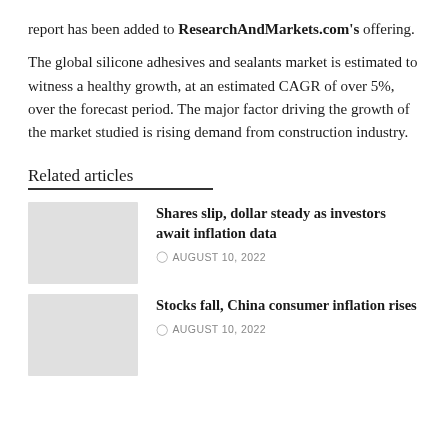report has been added to ResearchAndMarkets.com's offering.
The global silicone adhesives and sealants market is estimated to witness a healthy growth, at an estimated CAGR of over 5%, over the forecast period. The major factor driving the growth of the market studied is rising demand from construction industry.
Related articles
Shares slip, dollar steady as investors await inflation data — AUGUST 10, 2022
Stocks fall, China consumer inflation rises — AUGUST 10, 2022